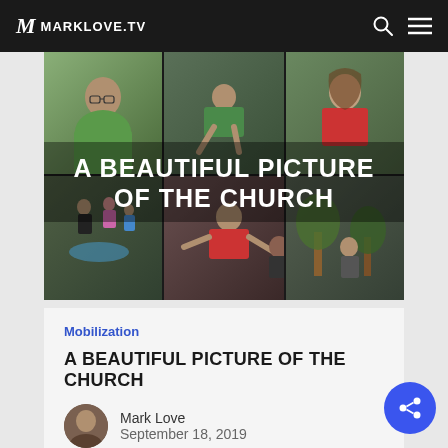MARKLOVE.TV
[Figure (photo): Collage of church community volunteers doing outdoor service activities, with text overlay reading 'A BEAUTIFUL PICTURE OF THE CHURCH'. Shows woman in green jacket, person bending over work, girl in red shirt, group on a path, person in red shirt doing yard work, and outdoor park scene.]
Mobilization
A BEAUTIFUL PICTURE OF THE CHURCH
Mark Love
September 18, 2019